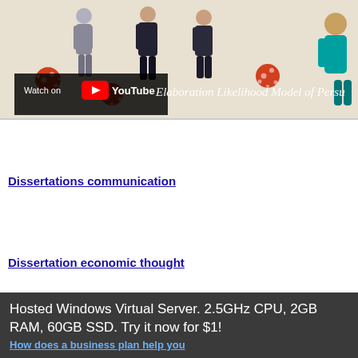[Figure (illustration): YouTube video thumbnail showing illustrated human figures against a light background with red coronavirus particles. Text overlay reads 'Elaboration Likelihood Model of Persuasion'. A 'Watch on YouTube' bar appears at the bottom left.]
Dissertations communication
Dissertation economic thought
Bowers dissertation
Hosted Windows Virtual Server. 2.5GHz CPU, 2GB RAM, 60GB SSD. Try it now for $1!
How does a business plan help you